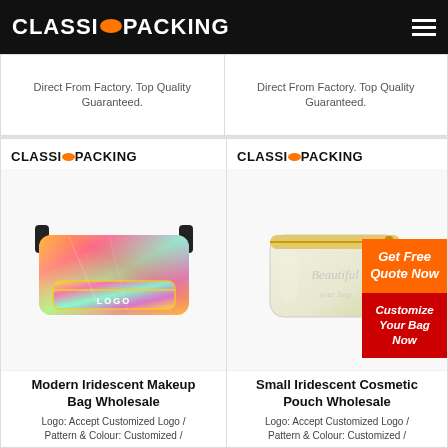CLASSICPACKING
Direct From Factory. Top Quality Guaranteed.
Direct From Factory. Top Quality Guaranteed.
[Figure (photo): Modern Iridescent Makeup Bag / fanny pack with holographic rainbow finish and LOGO text, with ClassicPacking logo above]
[Figure (photo): Small Iridescent Cosmetic Pouch in cream/white with gold zipper and script text, with ClassicPacking logo above]
Get Free Quote Now
Customize Your Bag Now
Modern Iridescent Makeup Bag Wholesale
Logo: Accept Customized Logo / Pattern & Colour: Customized /
Small Iridescent Cosmetic Pouch Wholesale
Logo: Accept Customized Logo / Pattern & Colour: Customized /